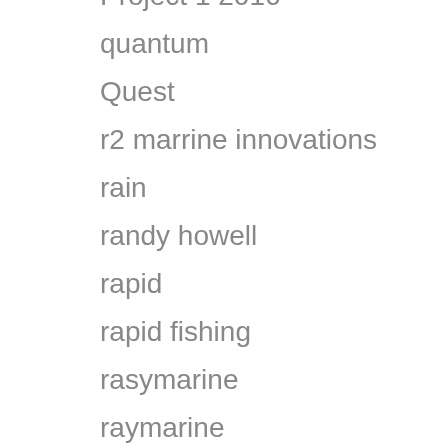Project 1 2016
quantum
Quest
r2 marrine innovations
rain
randy howell
rapid
rapid fishing
rasymarine
raymarine
real vision
reel
real deal